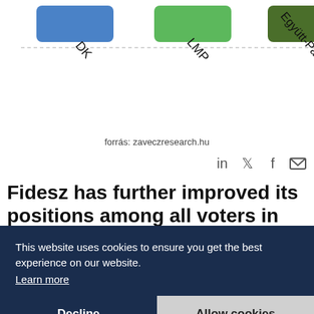[Figure (bar-chart): Partial bar chart showing party legend items: DK (blue), LMP (green), Együtt-Párbeszéd (dark green), Liberálisok (teal), MKKP (red). Source: zaveczresearch.hu]
forrás: zaveczresearch.hu
[Figure (other): Social sharing icons: LinkedIn, Twitter, Facebook, Email]
Fidesz has further improved its positions among all voters in Hungary in November, while the rate of undecided voters has not changed since July, a poll by Zavecz Research shows.
Graphic: party preferences of all voters in November (source: zaveczresearch.hu)
Apart from Fidesz, now at 51%, the only party that has grown since July, however slightly, is the
This website uses cookies to ensure you get the best experience on our website. Learn more
Decline | Allow cookies